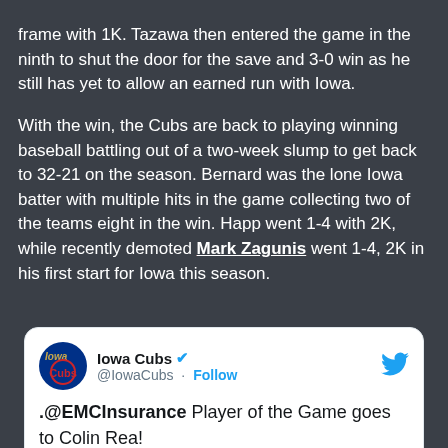frame with 1K. Tazawa then entered the game in the ninth to shut the door for the save and 3-0 win as he still has yet to allow an earned run with Iowa.
With the win, the Cubs are back to playing winning baseball battling out of a two-week slump to get back to 32-21 on the season. Bernard was the lone Iowa batter with multiple hits in the game collecting two of the teams eight in the win. Happ went 1-4 with 2K, while recently demoted Mark Zagunis went 1-4, 2K in his first start for Iowa this season.
[Figure (screenshot): Embedded tweet from @IowaCubs showing EMC Insurance Player of the Game goes to Colin Rea, with EMC Player of the Game banner]